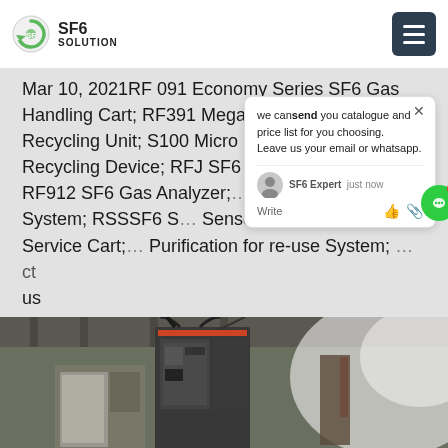[Figure (logo): SF6 Solution logo with circular green arrow icon and text 'SF6 SOLUTION']
Mar 10, 2021RF 091 Economy Series SF6 Gas Handling Cart; RF391 Mega Series SF6 Gas Recycling Unit; S100 Micro Series SF6 Gas Recycling Device; RFJ SF6 Refilling Devices; RF912 SF6 Gas Analyzer; Gas Monitoring System; RSSSF6 S Sensor; RF300N SF6 Service Cart; Purification for re-use System; Contact us
[Figure (screenshot): Chat popup overlay with message: 'we can send you catalogue and price list for you choosing. Leave us your email or whatsapp.' with SF6 Expert agent shown as 'just now' and Write input area with emoji and attachment icons. Green circular chat button with red badge showing 1.]
[Figure (photo): Industrial photo of SF6 gas handling equipment in a warehouse/factory setting, showing large dark electrical cabinet/unit mounted near ceiling with cables, blue shipping container visible at bottom, bright natural light from right side.]